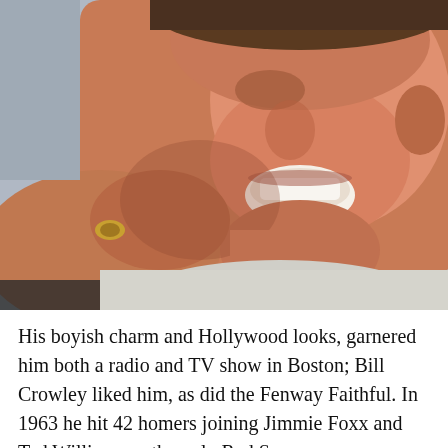[Figure (photo): Close-up photograph of a smiling man with his hands clasped near his chin, wearing a ring, appears to be a vintage color photo.]
His boyish charm and Hollywood looks, garnered him both a radio and TV show in Boston; Bill Crowley liked him, as did the Fenway Faithful. In 1963 he hit 42 homers joining Jimmie Foxx and Ted Williams as the only Red Sox